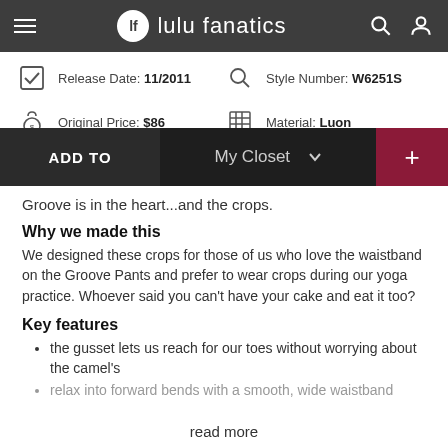lulu fanatics
Release Date: 11/2011 | Style Number: W6251S
Original Price: $86 | Material: Luon
ADD TO My Closet +
Groove is in the heart...and the crops.
Why we made this
We designed these crops for those of us who love the waistband on the Groove Pants and prefer to wear crops during our yoga practice. Whoever said you can't have your cake and eat it too?
Key features
the gusset lets us reach for our toes without worrying about the camel's
relax into forward bends with a smooth, wide waistband
read more